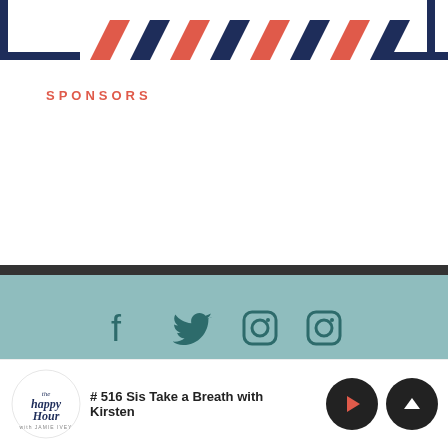[Figure (illustration): Decorative airmail-style diagonal stripe border in navy blue and coral/red alternating pattern across the top of the page]
SPONSORS
[Figure (infographic): Footer section with teal/muted green background containing four social media icons (Facebook, Twitter, Instagram, Instagram) in dark teal color]
Jamie Ivey 2015 | Brand + Site Design by Jenn Jett Creative
[Figure (infographic): Podcast player bar at bottom with Happy Hour logo, episode title '#516 Sis Take a Breath with Kirsten', play button and scroll up button]
# 516 Sis Take a Breath with Kirsten